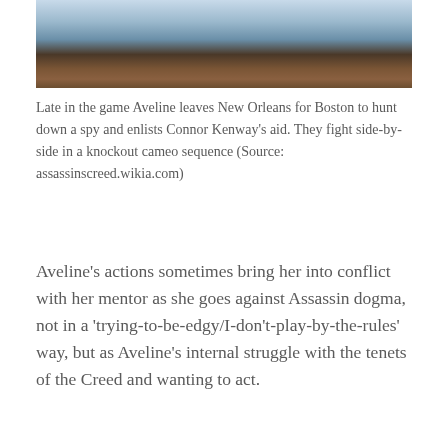[Figure (photo): Screenshot from Assassin's Creed game showing two characters in winter/snowy setting, one in a white/grey outfit visible from torso down, another in brown leather outfit]
Late in the game Aveline leaves New Orleans for Boston to hunt down a spy and enlists Connor Kenway's aid. They fight side-by-side in a knockout cameo sequence (Source: assassinscreed.wikia.com)
Aveline’s actions sometimes bring her into conflict with her mentor as she goes against Assassin dogma, not in a ‘trying-to-be-edgy/I-don’t-play-by-the-rules’ way, but as Aveline’s internal struggle with the tenets of the Creed and wanting to act.